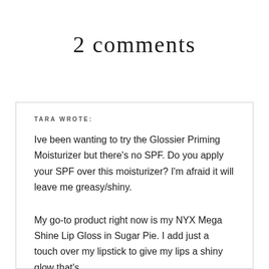2 comments
TARA WROTE:
Ive been wanting to try the Glossier Priming Moisturizer but there’s no SPF. Do you apply your SPF over this moisturizer? I’m afraid it will leave me greasy/shiny.
My go-to product right now is my NYX Mega Shine Lip Gloss in Sugar Pie. I add just a touch over my lipstick to give my lips a shiny glow that’s perfect for the season that’s almost here.